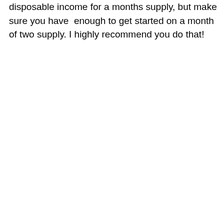disposable income for a months supply, but make sure you have enough to get started on a month of two supply. I highly recommend you do that!